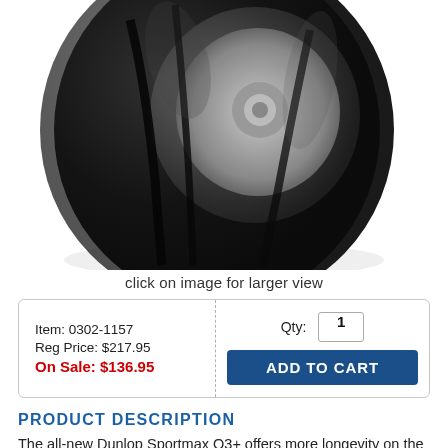[Figure (photo): Close-up product photo of a Dunlop Sportmax Q3+ motorcycle tire showing the tread pattern and sidewall, viewed from a low angle against a white background.]
click on image for larger view
Item: 0302-1157
Reg Price: $217.95
On Sale: $136.95
Qty: 1
ADD TO CART
PRODUCT DESCRIPTION
The all-new Dunlop Sportmax Q3+ offers more longevity on the street and the track, plus more grip, stability and steering feel.